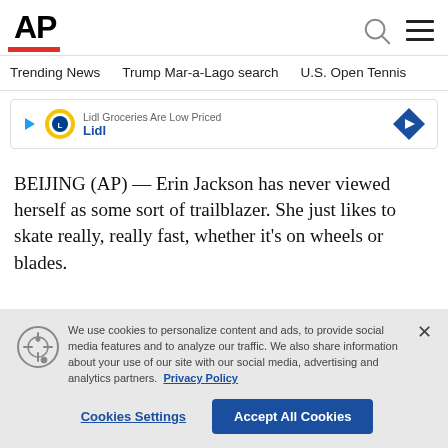AP
Trending News    Trump Mar-a-Lago search    U.S. Open Tennis
[Figure (infographic): Lidl advertisement banner with play button, Lidl logo, text 'Lidl Groceries Are Low Priced Lidl', and a blue navigation arrow icon]
BEIJING (AP) — Erin Jackson has never viewed herself as some sort of trailblazer. She just likes to skate really, really fast, whether it's on wheels or blades.
We use cookies to personalize content and ads, to provide social media features and to analyze our traffic. We also share information about your use of our site with our social media, advertising and analytics partners. Privacy Policy
Cookies Settings    Accept All Cookies